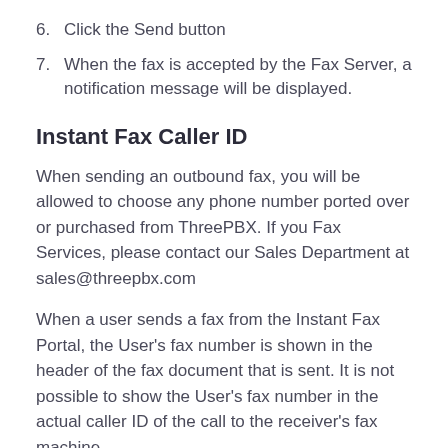6. Click the Send button
7. When the fax is accepted by the Fax Server, a notification message will be displayed.
Instant Fax Caller ID
When sending an outbound fax, you will be allowed to choose any phone number ported over or purchased from ThreePBX. If you Fax Services, please contact our Sales Department at sales@threepbx.com
When a user sends a fax from the Instant Fax Portal, the User's fax number is shown in the header of the fax document that is sent. It is not possible to show the User's fax number in the actual caller ID of the call to the receiver's fax machine.